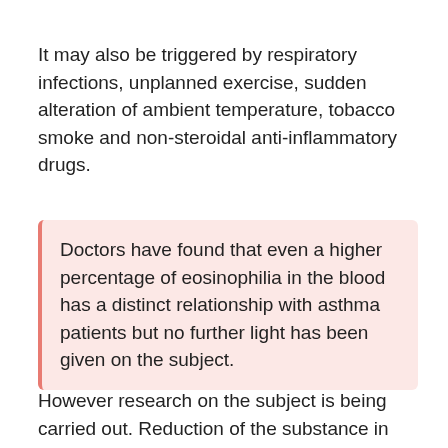It may also be triggered by respiratory infections, unplanned exercise, sudden alteration of ambient temperature, tobacco smoke and non-steroidal anti-inflammatory drugs.
Doctors have found that even a higher percentage of eosinophilia in the blood has a distinct relationship with asthma patients but no further light has been given on the subject.
However research on the subject is being carried out. Reduction of the substance in blood count invariably reduces asthma attacks.